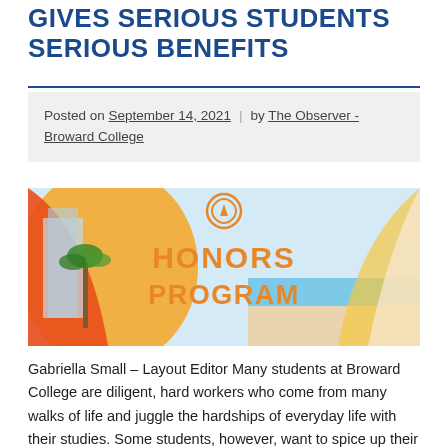GIVES SERIOUS STUDENTS SERIOUS BENEFITS
Posted on September 14, 2021 | by The Observer - Broward College
[Figure (illustration): Honors Program banner with orange and gold swirling design, palm trees and city scene on left, beach on right, with text 'HONORS PROGRAM' in orange letters in the center and a circular logo icon above.]
Gabriella Small – Layout Editor Many students at Broward College are diligent, hard workers who come from many walks of life and juggle the hardships of everyday life with their studies. Some students, however, want to spice up their academic life by adding in an extra challenge that can test their learning abilities